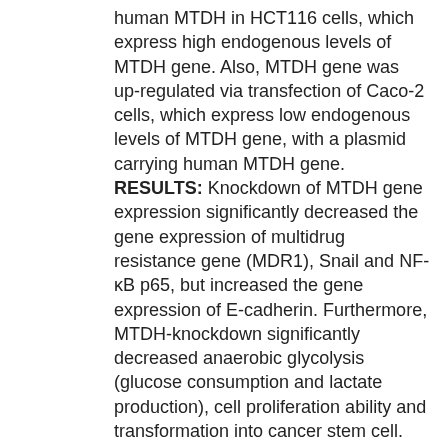human MTDH in HCT116 cells, which express high endogenous levels of MTDH gene. Also, MTDH gene was up-regulated via transfection of Caco-2 cells, which express low endogenous levels of MTDH gene, with a plasmid carrying human MTDH gene. RESULTS: Knockdown of MTDH gene expression significantly decreased the gene expression of multidrug resistance gene (MDR1), Snail and NF-κB p65, but increased the gene expression of E-cadherin. Furthermore, MTDH-knockdown significantly decreased anaerobic glycolysis (glucose consumption and lactate production), cell proliferation ability and transformation into cancer stem cell. Moreover, up-regulation of MTDH gene significantly increased the gene expression of MDR1, Snail and NF-κB p65, deceased the gene expression of E-cadherin, enhanced cell proliferation, and anaerobic glycolysis and activated transformation into cancer stem cells. CONCLUSIONS: MTDH has an important role in promoting CRC aggravation. Also, inhibition of MTDH expression may attenuate the carcinogenic behavior of CRC cells. Furthermore, MTDH-associated NF-κB p65 signaling pathways may be involved in mediating the